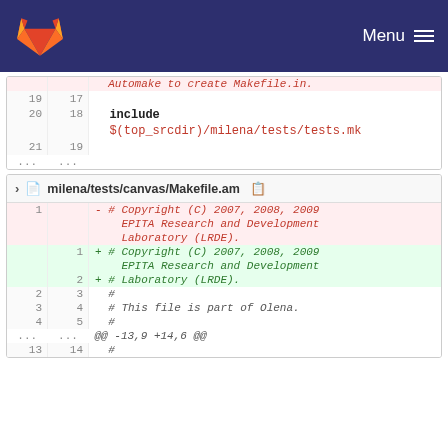GitLab Menu
[Figure (screenshot): GitLab diff view showing two file diffs. First partial diff shows lines 19-21 with include $(top_srcdir)/milena/tests/tests.mk. Second diff shows milena/tests/canvas/Makefile.am with deleted and added copyright header lines and context lines.]